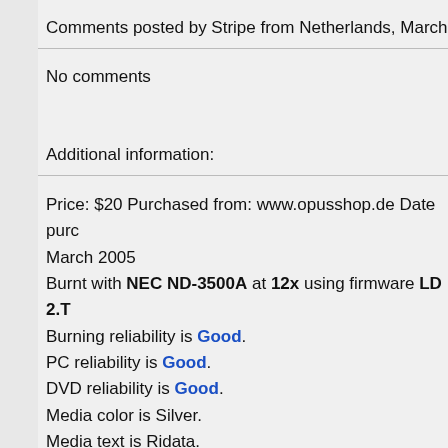Comments posted by Stripe from Netherlands, March 25
No comments
Additional information:
Price: $20 Purchased from: www.opusshop.de Date purchased: March 2005
Burnt with NEC ND-3500A at 12x using firmware LD 2.T
Burning reliability is Good.
PC reliability is Good.
DVD reliability is Good.
Media color is Silver.
Media text is Ridata.
Media package type is Cake Box. Number of discs 50.
Works fine on Finlux DVD-512